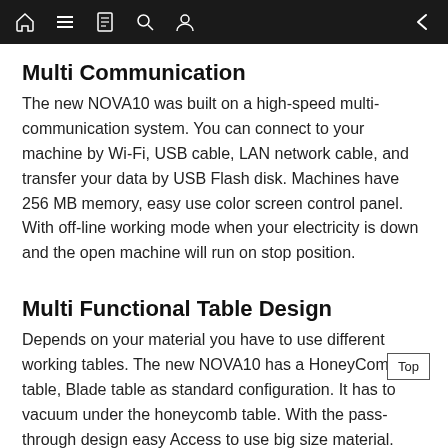Navigation bar with home, menu, book, search, user icons and back arrow
Multi Communication
The new NOVA10 was built on a high-speed multi-communication system. You can connect to your machine by Wi-Fi, USB cable, LAN network cable, and transfer your data by USB Flash disk. Machines have 256 MB memory, easy use color screen control panel. With off-line working mode when your electricity is down and the open machine will run on stop position.
Multi Functional Table Design
Depends on your material you have to use different working tables. The new NOVA10 has a HoneyComb table, Blade table as standard configuration. It has to vacuum under the honeycomb table. With the pass-through design easy Access to use big size material.
*Nova models have a 20cm up/down lift platform